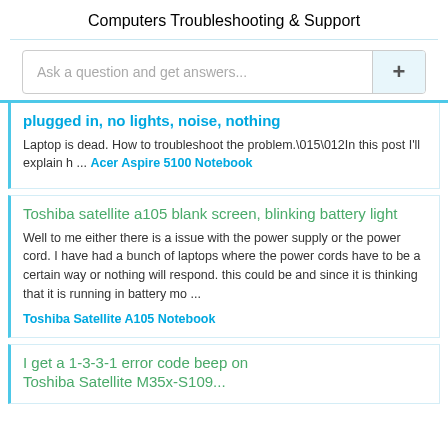Computers
Troubleshooting & Support
Ask a question and get answers...
plugged in, no lights, noise, nothing
Laptop is dead. How to troubleshoot the problem.\015\012In this post I'll explain h ... Acer Aspire 5100 Notebook
Toshiba satellite a105 blank screen, blinking battery light
Well to me either there is a issue with the power supply or the power cord. I have had a bunch of laptops where the power cords have to be a certain way or nothing will respond. this could be and since it is thinking that it is running in battery mo ...
Toshiba Satellite A105 Notebook
I get a 1-3-3-1 error code beep on Toshiba Satellite M35x-S109...